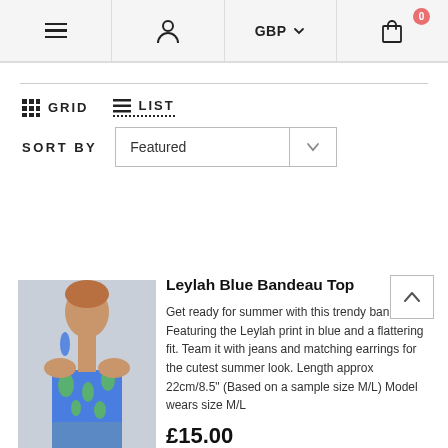Navigation bar with hamburger menu, user icon, GBP currency selector, and cart (0 items)
GRID  LIST
SORT BY  Featured
Leylah Blue Bandeau Top
Get ready for summer with this trendy bandeau! Featuring the Leylah print in blue and a flattering fit. Team it with jeans and matching earrings for the cutest summer look. Length approx 22cm/8.5" (Based on a sample size M/L) Model wears size M/L
£15.00